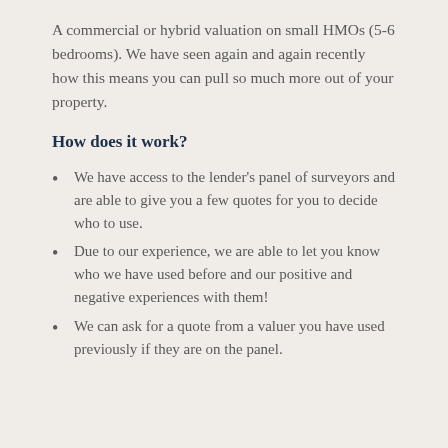A commercial or hybrid valuation on small HMOs (5-6 bedrooms). We have seen again and again recently how this means you can pull so much more out of your property.
How does it work?
We have access to the lender’s panel of surveyors and are able to give you a few quotes for you to decide who to use.
Due to our experience, we are able to let you know who we have used before and our positive and negative experiences with them!
We can ask for a quote from a valuer you have used previously if they are on the panel.